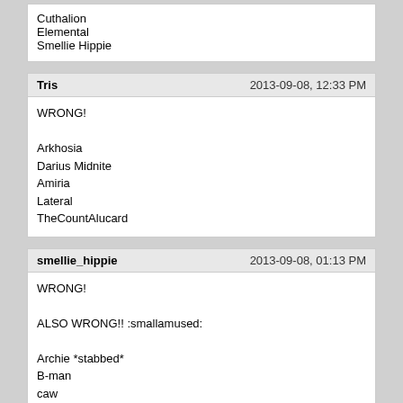Cuthalion
Elemental
Smellie Hippie
Tris
2013-09-08, 12:33 PM
WRONG!
Arkhosia
Darius Midnite
Amiria
Lateral
TheCountAlucard
smellie_hippie
2013-09-08, 01:13 PM
WRONG!
ALSO WRONG!! :smallamused:
Archie *stabbed*
B-man
caw
Darius Midnite *groin kick* :smalltongue:
EmeraldRose
Dallas-Dakota
2013-09-08, 05:11 PM
You should know better by now, professor alcoholstein.
Rum
Whiskey
Tequila
Beer
Vodka